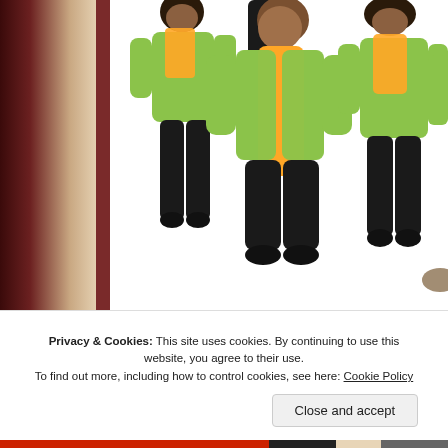[Figure (illustration): Three animated/game-style characters wearing lime green jackets, orange/gold scarves, and black pants/boots, posed dynamically against a white background with a dark red and tan sidebar on the left.]
Privacy & Cookies: This site uses cookies. By continuing to use this website, you agree to their use.
To find out more, including how to control cookies, see here: Cookie Policy
Close and accept